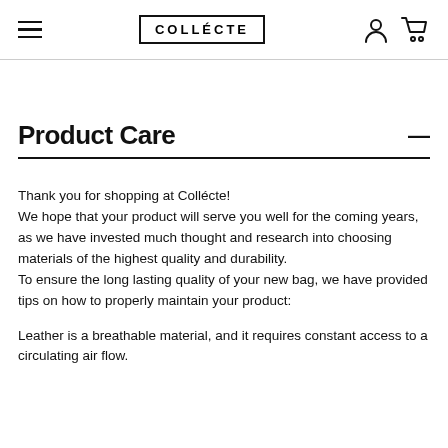COLLECTE
Product Care
Thank you for shopping at Collécte! We hope that your product will serve you well for the coming years, as we have invested much thought and research into choosing materials of the highest quality and durability.
To ensure the long lasting quality of your new bag, we have provided tips on how to properly maintain your product:
Leather is a breathable material, and it requires constant access to a circulating air flow.